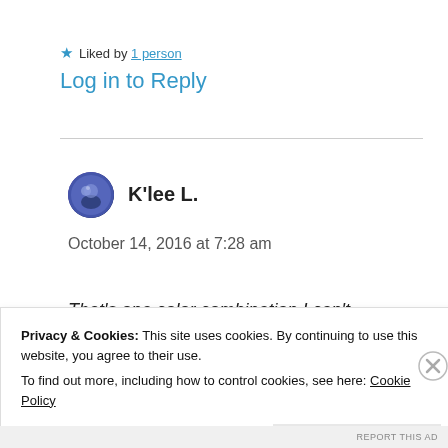★ Liked by 1 person
Log in to Reply
K'lee L.
October 14, 2016 at 7:28 am
That's one color combination I can't
Privacy & Cookies: This site uses cookies. By continuing to use this website, you agree to their use. To find out more, including how to control cookies, see here: Cookie Policy
Close and accept